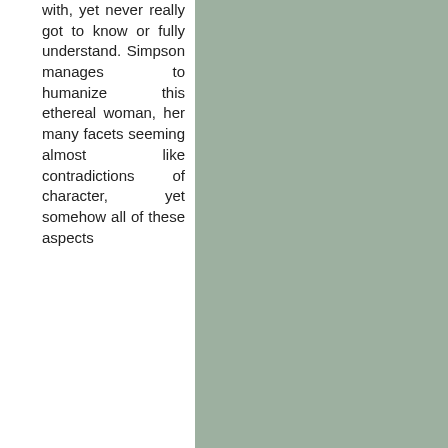with, yet never really got to know or fully understand. Simpson manages to humanize this ethereal woman, her many facets seeming almost like contradictions of character, yet somehow all of these aspects